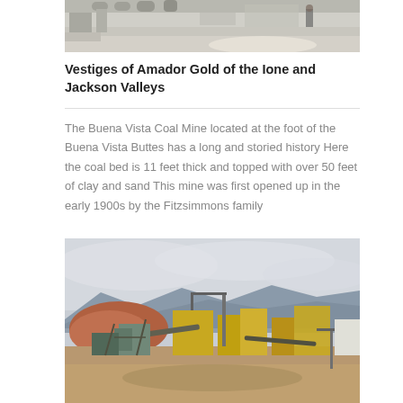[Figure (photo): Top portion of an industrial facility interior, showing machinery, pipes, and a concrete floor with a person visible in the background.]
Vestiges of Amador Gold of the Ione and Jackson Valleys
The Buena Vista Coal Mine located at the foot of the Buena Vista Buttes has a long and storied history Here the coal bed is 11 feet thick and topped with over 50 feet of clay and sand This mine was first opened up in the early 1900s by the Fitzsimmons family
[Figure (photo): Aerial or elevated view of an open-pit mining operation with industrial equipment, a crane, conveyor belts, yellow processing structures, and mountains visible in the background under a cloudy sky.]